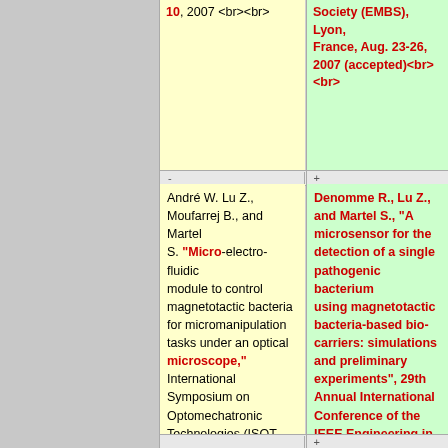10, 2007 <br><br>
Society (EMBS), Lyon, France, Aug. 23-26, 2007 (accepted)<br><br>
André W. Lu Z., Moufarrej B., and Martel S. "Micro-electro-fluidic module to control magnetotactic bacteria for micromanipulation tasks under an optical microscope," International Symposium on Optomechatronic Technologies (ISOT 2007), Lausane, Switzerland, Oct. 08-10, 2007 <br><br>
Denomme R., Lu Z., and Martel S., "A microsensor for the detection of a single pathogenic bacterium using magnetotactic bacteria-based bio-carriers: simulations and preliminary experiments", 29th Annual International Conference of the IEEE Engineering in Medicine and Biology Society (EMBS), Lyon, France, Aug. 23-26, 2007 (accepted)<br><br>